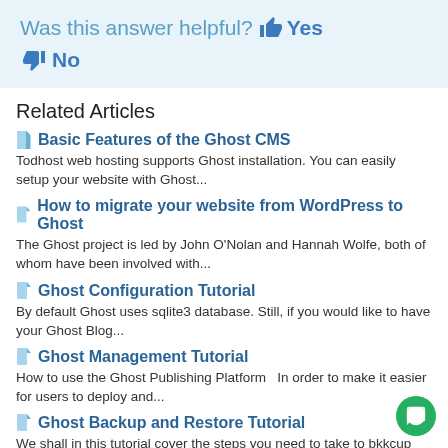Was this answer helpful? 👍 Yes
👎 No
Related Articles
Basic Features of the Ghost CMS — Todhost web hosting supports Ghost installation. You can easily setup your website with Ghost...
How to migrate your website from WordPress to Ghost — The Ghost project is led by John O'Nolan and Hannah Wolfe, both of whom have been involved with...
Ghost Configuration Tutorial — By default Ghost uses sqlite3 database. Still, if you would like to have your Ghost Blog...
Ghost Management Tutorial — How to use the Ghost Publishing Platform  In order to make it easier for users to deploy and...
Ghost Backup and Restore Tutorial — We shall in this tutorial cover the steps you need to take to bkkcup your Ghost website and also...